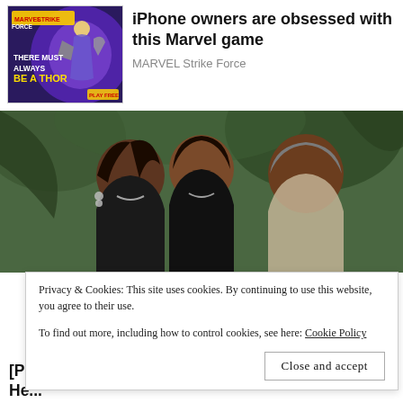[Figure (illustration): Marvel Strike Force game advertisement image with Thor character and text 'THERE MUST ALWAYS BE A THOR' on a purple/blue glowing background]
iPhone owners are obsessed with this Marvel game
MARVEL Strike Force
[Figure (photo): Family photo of three people smiling outdoors with green foliage background]
Privacy & Cookies: This site uses cookies. By continuing to use this website, you agree to their use.
To find out more, including how to control cookies, see here: Cookie Policy
Close and accept
[Pics] Obama Just Turns 61 & This Is The House He...